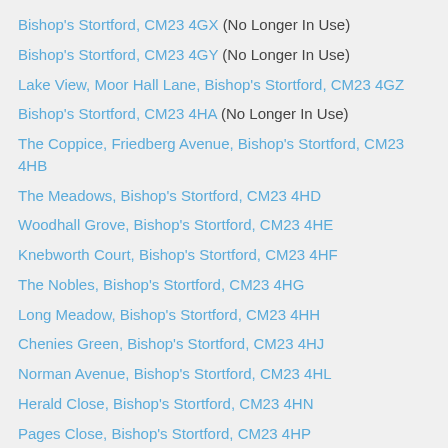Bishop's Stortford, CM23 4GX (No Longer In Use)
Bishop's Stortford, CM23 4GY (No Longer In Use)
Lake View, Moor Hall Lane, Bishop's Stortford, CM23 4GZ
Bishop's Stortford, CM23 4HA (No Longer In Use)
The Coppice, Friedberg Avenue, Bishop's Stortford, CM23 4HB
The Meadows, Bishop's Stortford, CM23 4HD
Woodhall Grove, Bishop's Stortford, CM23 4HE
Knebworth Court, Bishop's Stortford, CM23 4HF
The Nobles, Bishop's Stortford, CM23 4HG
Long Meadow, Bishop's Stortford, CM23 4HH
Chenies Green, Bishop's Stortford, CM23 4HJ
Norman Avenue, Bishop's Stortford, CM23 4HL
Herald Close, Bishop's Stortford, CM23 4HN
Pages Close, Bishop's Stortford, CM23 4HP
Bylands Close, Bishop's Stortford, CM23 4HQ